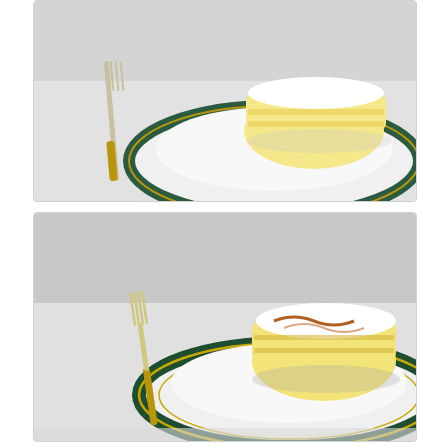[Figure (photo): A slice of layered cake with white frosting on a dark green-rimmed gold-accented plate, with a fork visible on the left, photographed on a white tablecloth. Partially cropped at top.]
[Figure (photo): A slice of yellow layer cake with white frosting on a dark green-rimmed gold-accented plate, with a fork visible on the left side, photographed on a white tablecloth.]
Figured I would get a couple of the "Cut" and be done. Not entirely satisfied with the look, but I enjoyed the challenge. Hope I didn't make you too hungry, or less hungry....
[Figure (photo): Bottom portion of a plate with dark green and gold rim pattern, partially cropped, on a white tablecloth.]